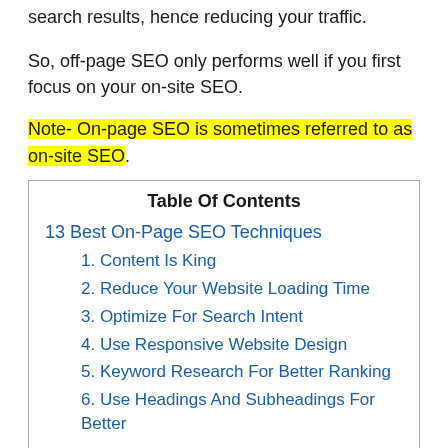search results, hence reducing your traffic.
So, off-page SEO only performs well if you first focus on your on-site SEO.
Note- On-page SEO is sometimes referred to as on-site SEO.
| Table Of Contents |
| --- |
| 13 Best On-Page SEO Techniques |
| 1. Content Is King |
| 2. Reduce Your Website Loading Time |
| 3. Optimize For Search Intent |
| 4. Use Responsive Website Design |
| 5. Keyword Research For Better Ranking |
| 6. Use Headings And Subheadings For Better |